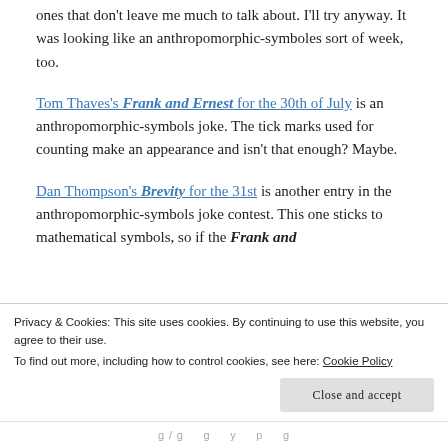ones that don't leave me much to talk about. I'll try anyway. It was looking like an anthropomorphic-symboles sort of week, too.
Tom Thaves's Frank and Ernest for the 30th of July is an anthropomorphic-symbols joke. The tick marks used for counting make an appearance and isn't that enough? Maybe.
Dan Thompson's Brevity for the 31st is another entry in the anthropomorphic-symbols joke contest. This one sticks to mathematical symbols, so if the Frank and
Privacy & Cookies: This site uses cookies. By continuing to use this website, you agree to their use.
To find out more, including how to control cookies, see here: Cookie Policy
Close and accept
g / g     g     y     p     g